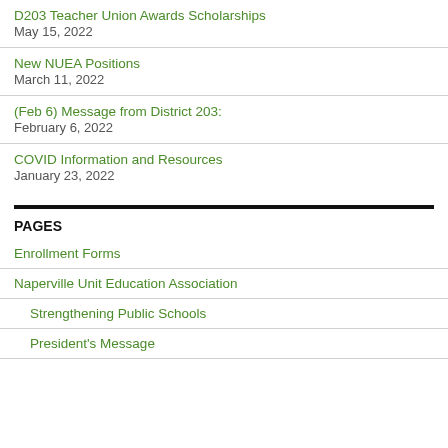D203 Teacher Union Awards Scholarships
May 15, 2022
New NUEA Positions
March 11, 2022
(Feb 6) Message from District 203:
February 6, 2022
COVID Information and Resources
January 23, 2022
PAGES
Enrollment Forms
Naperville Unit Education Association
Strengthening Public Schools
President's Message